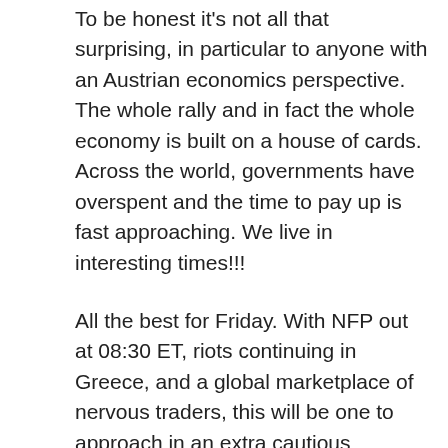To be honest it's not all that surprising, in particular to anyone with an Austrian economics perspective. The whole rally and in fact the whole economy is built on a house of cards. Across the world, governments have overspent and the time to pay up is fast approaching. We live in interesting times!!!
All the best for Friday. With NFP out at 08:30 ET, riots continuing in Greece, and a global marketplace of nervous traders, this will be one to approach in an extra cautious manner.
Manage risk!
Lance Beggs